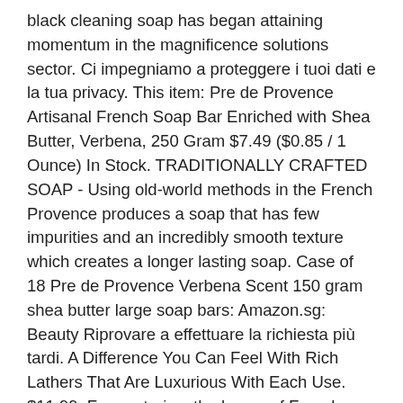black cleaning soap has began attaining momentum in the magnificence solutions sector. Ci impegniamo a proteggere i tuoi dati e la tua privacy. This item: Pre de Provence Artisanal French Soap Bar Enriched with Shea Butter, Verbena, 250 Gram $7.49 ($0.85 / 1 Ounce) In Stock. TRADITIONALLY CRAFTED SOAP - Using old-world methods in the French Provence produces a soap that has few impurities and an incredibly smooth texture which creates a longer lasting soap. Case of 18 Pre de Provence Verbena Scent 150 gram shea butter large soap bars: Amazon.sg: Beauty Riprovare a effettuare la richiesta più tardi. A Difference You Can Feel With Rich Lathers That Are Luxurious With Each Use. $11.99. For centuries, the luxury of French-milled soaps has remained the gold standard of excellence. Get it as soon as Thu, Sep 10. Non è stato possibile aggiungere l'articolo alla Lista. TRADITIONALLY CRAFTED SOAP - Using old-world methods in the French Provence produces a soap that has few impurities and an incredibly smooth texture which creates a longer lasting soap FEEL THE LUXURY - Pre de Provence luxurious soaps creates a rich... Trova le risposte utilizzando le...